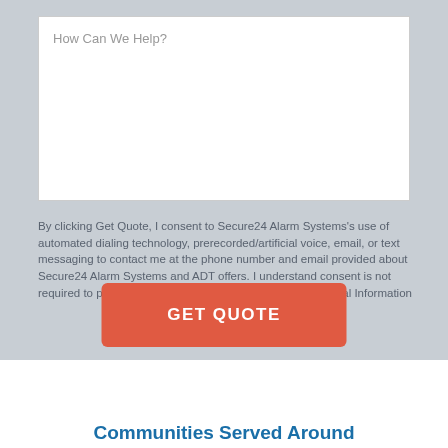[Figure (screenshot): Text area input box with placeholder text 'How Can We Help?']
By clicking Get Quote, I consent to Secure24 Alarm Systems's use of automated dialing technology, prerecorded/artificial voice, email, or text messaging to contact me at the phone number and email provided about Secure24 Alarm Systems and ADT offers. I understand consent is not required to purchase. CA Residents: Do Not Sell My Personal Information
GET QUOTE
Communities Served Around